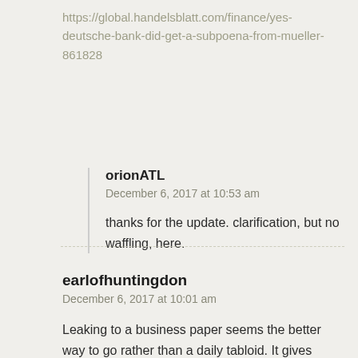https://global.handelsblatt.com/finance/yes-deutsche-bank-did-get-a-subpoena-from-mueller-861828
orionATL
December 6, 2017 at 10:53 am

thanks for the update. clarification, but no waffling, here.
earlofhuntingdon
December 6, 2017 at 10:01 am

Leaking to a business paper seems the better way to go rather than a daily tabloid. It gives
way to go rather than a daily tabloid. It gives